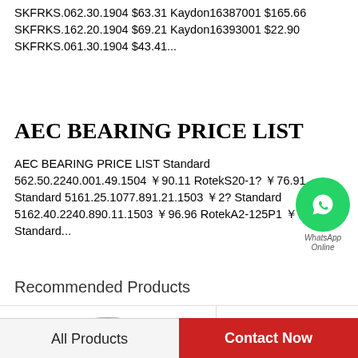SKFRKS.062.30.1904 $63.31 Kaydon16387001 $165.66 SKFRKS.162.20.1904 $69.21 Kaydon16393001 $22.90 SKFRKS.061.30.1904 $43.41...
AEC BEARING PRICE LIST
AEC BEARING PRICE LIST Standard 562.50.2240.001.49.1504 ￥90.11 RotekS20-1? ￥76.91 Standard 5161.25.1077.891.21.1503 ￥2? Standard 5162.40.2240.890.11.1503 ￥96.96 RotekA2-125P1 ￥77.78 Standard...
Recommended Products
[Figure (photo): Circular bearing ring product image, partial view]
All Products | Contact Now